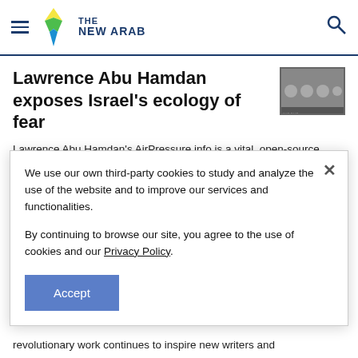THE NEW ARAB
Lawrence Abu Hamdan exposes Israel's ecology of fear
Lawrence Abu Hamdan's AirPressure.info is a vital, open-source exposé of illegal Israeli incursions into Lebanese airspace over the past 15 years, and is further
We use our own third-party cookies to study and analyze the use of the website and to improve our services and functionalities.

By continuing to browse our site, you agree to the use of cookies and our Privacy Policy.
revolutionary work continues to inspire new writers and